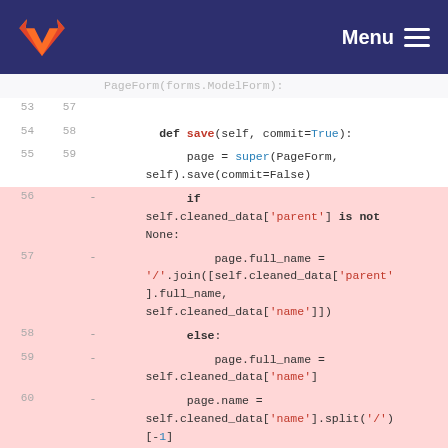Menu
[Figure (screenshot): GitLab code diff view showing Python code for a PageForm class save method, with deleted lines (56-60) highlighted in pink/red background, and context lines in white/light gray.]